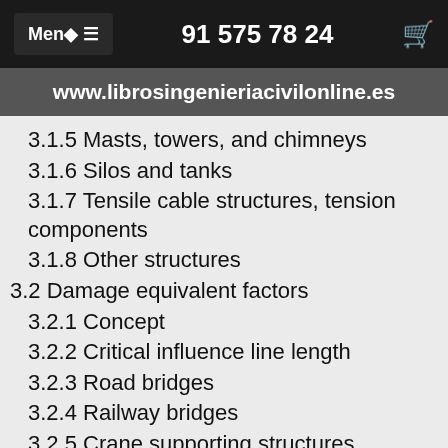Menú ≡   91 575 78 24
www.librosingenieriacivilonline.es
3.1.5 Masts, towers, and chimneys
3.1.6 Silos and tanks
3.1.7 Tensile cable structures, tension components
3.1.8 Other structures
3.2 Damage equivalent factors
3.2.1 Concept
3.2.2 Critical influence line length
3.2.3 Road bridges
3.2.4 Railway bridges
3.2.5 Crane supporting structures